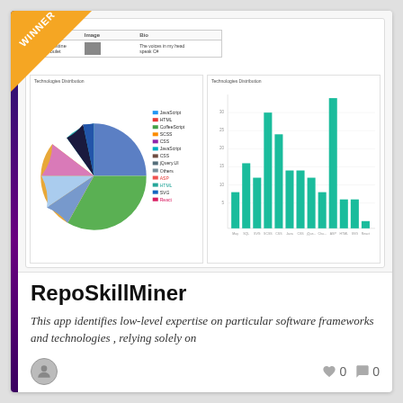[Figure (screenshot): Winner badge on card showing RepoSkillMiner app with profile table, pie chart of Technologies Distribution and bar chart of Technologies Distribution]
|  | Image | Bio |
| --- | --- | --- |
| Christine Soulet | [image] | The voices in my head speak C# |
[Figure (pie-chart): Pie chart showing technology distribution with blue, green, orange, teal, pink, and dark slices]
[Figure (bar-chart): Bar chart with teal bars showing technology distribution counts]
RepoSkillMiner
This app identifies low-level expertise on particular software frameworks and technologies , relying solely on